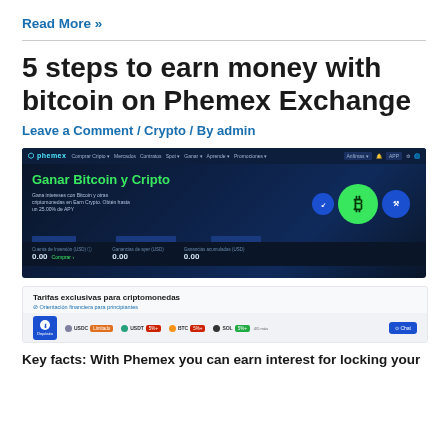Read More »
5 steps to earn money with bitcoin on Phemex Exchange
Leave a Comment / Crypto / By admin
[Figure (screenshot): Phemex Exchange website screenshot showing 'Ganar Bitcoin y Cripto' landing page with crypto coins graphic and earn interest statistics showing 0.00 values]
[Figure (screenshot): Phemex Exchange interface showing 'Tarifas exclusivas para criptomonedas' section with USDC, USDT, BTC, SOL coin tabs and Chat button]
Key facts: With Phemex you can earn interest for locking your